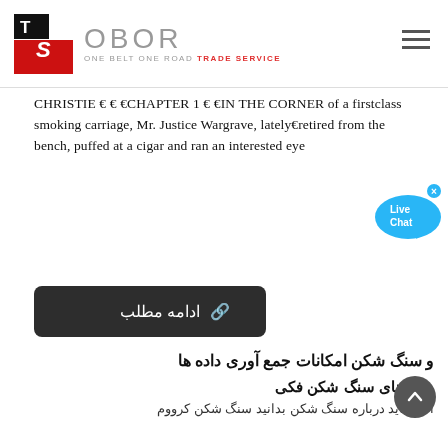OBOR — ONE BELT ONE ROAD TRADE SERVICE
CHRISTIE € € €CHAPTER 1 € €IN THE CORNER of a firstclass smoking carriage, Mr. Justice Wargrave, lately€retired from the bench, puffed at a cigar and ran an interested eye
[Figure (other): Live Chat bubble widget in blue]
ادامه مطلب (Continue reading button)
و سنگ شکن امکانات جمع آوری داده ها
داده های سنگ شکن فکی
آنچه باید درباره سنگ شکن بدانید سنگ شکن کرووم